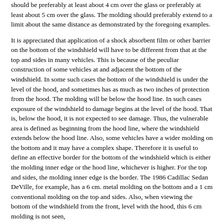should be preferably at least about 4 cm over the glass or preferably at least about 5 cm over the glass. The molding should preferably extend to a limit about the same distance as demonstrated by the foregoing examples.
It is appreciated that application of a shock absorbent film or other barrier on the bottom of the windshield will have to be different from that at the top and sides in many vehicles. This is because of the peculiar construction of some vehicles at and adjacent the bottom of the windshield. In some such cases the bottom of the windshield is under the level of the hood, and sometimes has as much as two inches of protection from the hood. The molding will be below the hood line. In such cases exposure of the windshield to damage begins at the level of the hood. That is, below the hood, it is not expected to see damage. Thus, the vulnerable area is defined as beginning from the hood line, where the windshield extends below the hood line. Also, some vehicles have a wider molding on the bottom and it may have a complex shape. Therefore it is useful to define an effective border for the bottom of the windshield which is either the molding inner edge or the hood line, whichever is higher. For the top and sides, the molding inner edge is the border. The 1986 Cadillac Sedan DeVille, for example, has a 6 cm. metal molding on the bottom and a 1 cm conventional molding on the top and sides. Also, when viewing the bottom of the windshield from the front, level with the hood, this 6 cm molding is not seen, the 6 inches or so of the exposed glass begins at about 6 cm.